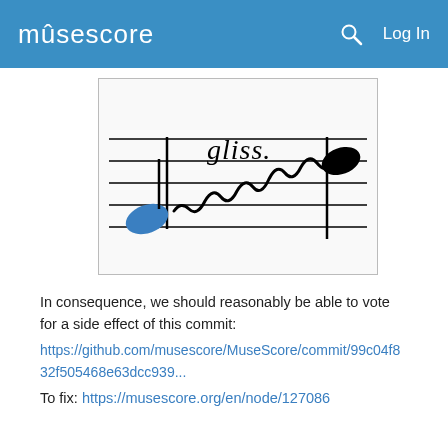musescore   Log In
[Figure (illustration): Music notation showing a glissando marking with 'gliss.' text and a wavy line between a blue note and a black note on a staff.]
In consequence, we should reasonably be able to vote for a side effect of this commit:
https://github.com/musescore/MuseScore/commit/99c04f832f505468e63dcc939...
To fix: https://musescore.org/en/node/127086